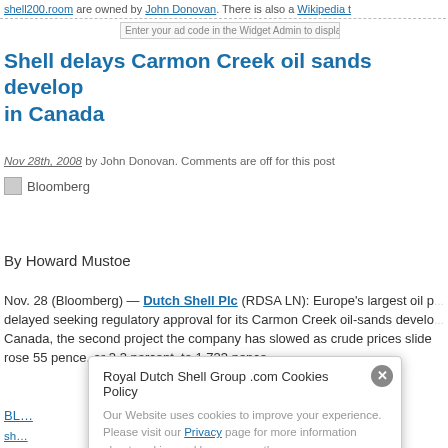shell200.room are owned by John Donovan. There is also a Wikipedia t...
Shell delays Carmon Creek oil sands development in Canada
Nov 28th, 2008 by John Donovan. Comments are off for this post
[Figure (photo): Bloomberg image (broken/not loaded)]
By Howard Mustoe
Nov. 28 (Bloomberg) — Dutch Shell Plc (RDSA LN): Europe’s largest oil producer delayed seeking regulatory approval for its Carmon Creek oil-sands development in Canada, the second project the company has slowed as crude prices slid. Shares rose 55 pence, or 3.3 percent, to 1,733 pence.
BL...
sh... plc.com
roy... y.com
roy... and
sh... edia f...